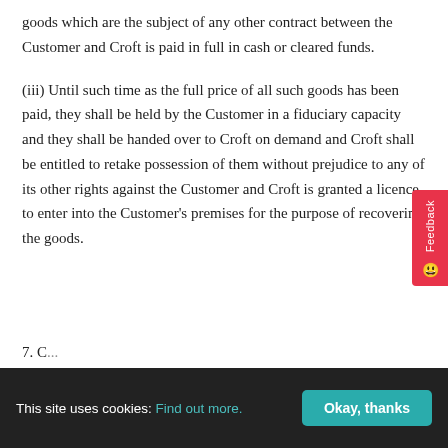goods which are the subject of any other contract between the Customer and Croft is paid in full in cash or cleared funds.
(iii) Until such time as the full price of all such goods has been paid, they shall be held by the Customer in a fiduciary capacity and they shall be handed over to Croft on demand and Croft shall be entitled to retake possession of them without prejudice to any of its other rights against the Customer and Croft is granted a licence to enter into the Customer's premises for the purpose of recovering the goods.
7. C...
This site uses cookies: Find out more.